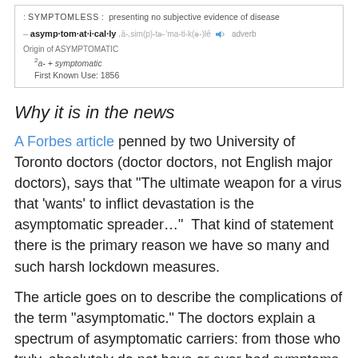[Figure (screenshot): Dictionary definition box for 'asymptomatic' showing: SYMPTOMLESS: presenting no subjective evidence of disease; adverb form asymptomatically with phonetic; Origin of ASYMPTOMATIC: 2a- + symptomatic; First Known Use: 1856]
Why it is in the news
A Forbes article penned by two University of Toronto doctors (doctor doctors, not English major doctors), says that “The ultimate weapon for a virus that ‘wants’ to inflict devastation is the asymptomatic spreader…”  That kind of statement there is the primary reason we have so many and such harsh lockdown measures.
The article goes on to describe the complications of the term “asymptomatic.” The doctors explain a spectrum of asymptomatic carriers: from those who truly, absolutely do not have or ever had symptoms on